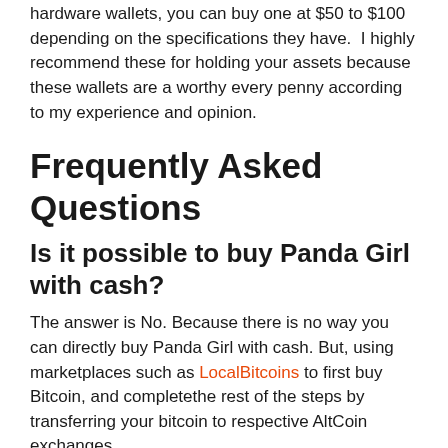hardware wallets, you can buy one at $50 to $100 depending on the specifications they have.  I highly recommend these for holding your assets because these wallets are a worthy every penny according to my experience and opinion.
Frequently Asked Questions
Is it possible to buy Panda Girl with cash?
The answer is No. Because there is no way you can directly buy Panda Girl with cash. But, using marketplaces such as LocalBitcoins to first buy Bitcoin, and completethe rest of the steps by transferring your bitcoin to respective AltCoin exchanges.